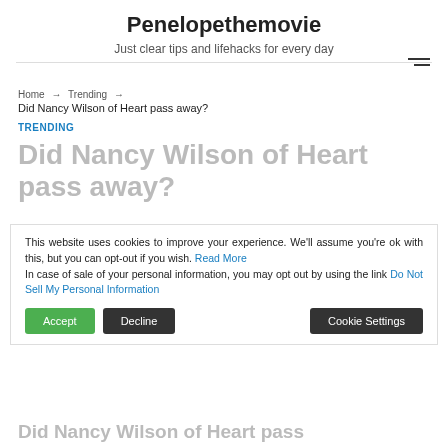Penelopethemovie
Just clear tips and lifehacks for every day
Home → Trending →
Did Nancy Wilson of Heart pass away?
TRENDING
Did Nancy Wilson of Heart pass away?
This website uses cookies to improve your experience. We'll assume you're ok with this, but you can opt-out if you wish. Read More
In case of sale of your personal information, you may opt out by using the link Do Not Sell My Personal Information
March 11, 2021
Did Nancy Wilson of Heart pass